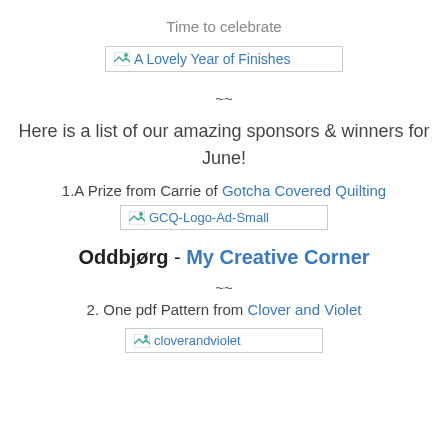Time to celebrate
[Figure (other): A Lovely Year of Finishes image placeholder with broken image icon and blue link text]
~~
Here is a list of our amazing sponsors & winners for June!
1.A Prize from Carrie of Gotcha Covered Quilting
[Figure (logo): GCQ-Logo-Ad-Small image placeholder]
Oddbjørg - My Creative Corner
~~
2. One pdf Pattern from Clover and Violet
[Figure (logo): cloverandviolet image placeholder]